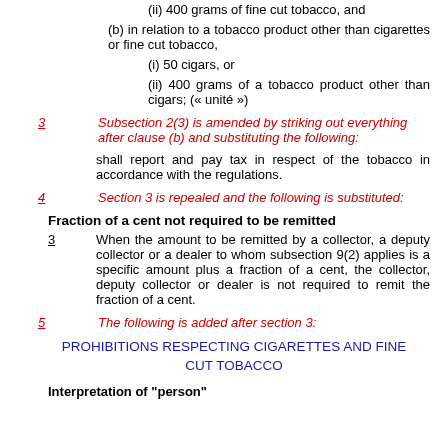(ii) 400 grams of fine cut tobacco, and
(b) in relation to a tobacco product other than cigarettes or fine cut tobacco,
(i) 50 cigars, or
(ii) 400 grams of a tobacco product other than cigars; (« unité »)
3   Subsection 2(3) is amended by striking out everything after clause (b) and substituting the following:
shall report and pay tax in respect of the tobacco in accordance with the regulations.
4   Section 3 is repealed and the following is substituted:
Fraction of a cent not required to be remitted
3   When the amount to be remitted by a collector, a deputy collector or a dealer to whom subsection 9(2) applies is a specific amount plus a fraction of a cent, the collector, deputy collector or dealer is not required to remit the fraction of a cent.
5   The following is added after section 3:
PROHIBITIONS RESPECTING CIGARETTES AND FINE CUT TOBACCO
Interpretation of "person"